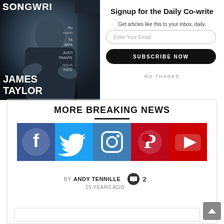[Figure (photo): Magazine cover showing James Taylor on Songwriting magazine, partially visible on left side]
Signup for the Daily Co-write
Get articles like this to your inbox, daily.
Enter Your Email
SUBSCRIBE NOW
NO THANKS
MORE BREAKING NEWS
[Figure (infographic): Social media icons bar: Facebook, Twitter, Instagram, Pinterest, YouTube]
BY ANDY TENNILLE 15 YEARS AGO  2